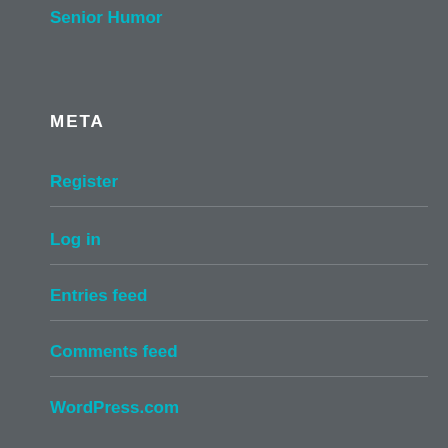Senior Humor
META
Register
Log in
Entries feed
Comments feed
WordPress.com